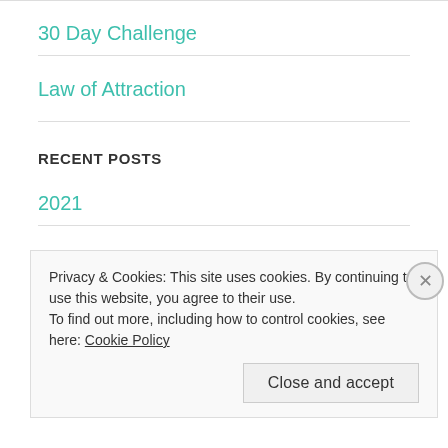30 Day Challenge
Law of Attraction
RECENT POSTS
2021
Hiatus
Privacy & Cookies: This site uses cookies. By continuing to use this website, you agree to their use.
To find out more, including how to control cookies, see here: Cookie Policy
Close and accept